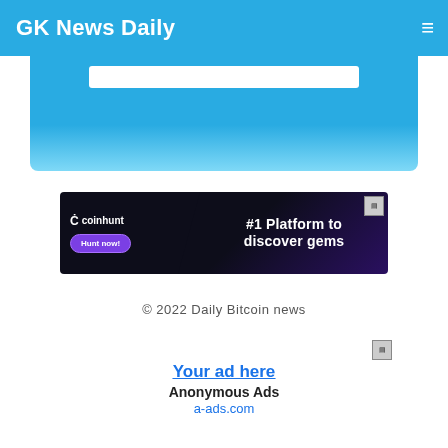GK News Daily
[Figure (screenshot): Blue hero/search area with a white search bar, part of website header continuation]
[Figure (photo): Coinhunt advertisement banner: dark background with purple diagonal, Coinhunt logo and 'Hunt now!' button on left, '#1 Platform to discover gems' text on right]
© 2022 Daily Bitcoin news
[Figure (infographic): Anonymous Ads placement: 'Your ad here' link, 'Anonymous Ads', 'a-ads.com' link]